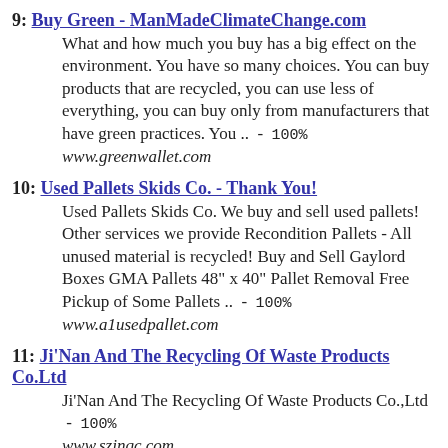9: Buy Green - ManMadeClimateChange.com
What and how much you buy has a big effect on the environment. You have so many choices. You can buy products that are recycled, you can use less of everything, you can buy only from manufacturers that have green practices. You ..  -  100%
www.greenwallet.com
10: Used Pallets Skids Co. - Thank You!
Used Pallets Skids Co. We buy and sell used pallets! Other services we provide Recondition Pallets - All unused material is recycled! Buy and Sell Gaylord Boxes GMA Pallets 48" x 40" Pallet Removal Free Pickup of Some Pallets ..  -  100%
www.a1usedpallet.com
11: Ji'Nan And The Recycling Of Waste Products Co.Ltd
Ji'Nan And The Recycling Of Waste Products Co.,Ltd  -  100%
www.szjnqc.com
12: www.i36solutions.com